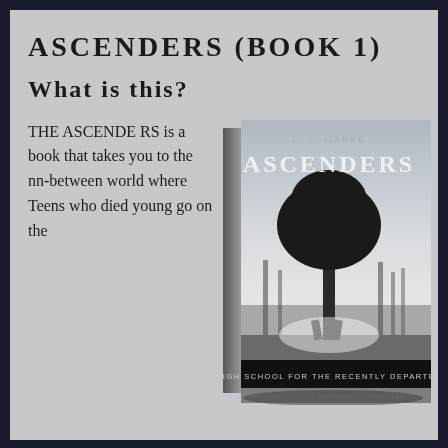ASCENDERS (BOOK 1)
What is this?
THE ASCENDERS is a book that takes you to the nn-between world where Teens who died young go on the
[Figure (illustration): Book cover of ASCENDERS by C.L. Gaber showing a misty landscape with a large bare tree. Subtitle reads HIGH SCHOOL FOR THE RECENTLY DEPARTED.]